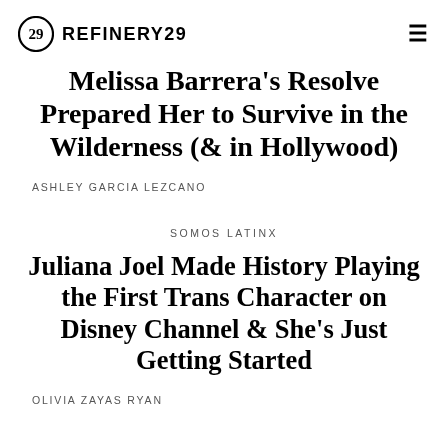REFINERY29
Melissa Barrera’s Resolve Prepared Her to Survive in the Wilderness (& in Hollywood)
ASHLEY GARCIA LEZCANO
SOMOS LATINX
Juliana Joel Made History Playing the First Trans Character on Disney Channel & She’s Just Getting Started
OLIVIA ZAYAS RYAN